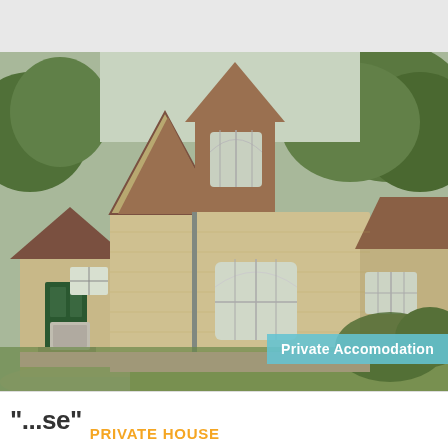[Figure (photo): Exterior view of a traditional brick private house with steep gabled roof, arched windows, green front door, and surrounded by green trees and lawn. An air conditioning unit is visible on the left side of the building.]
Private Accomodation
"...se"  PRIVATE HOUSE